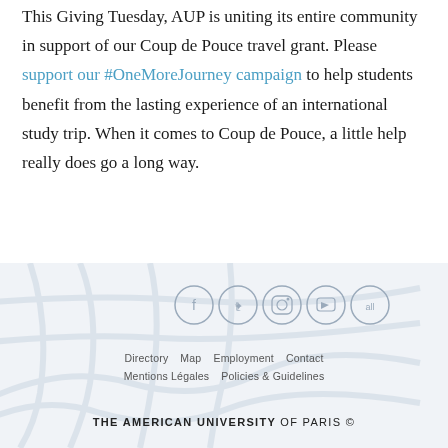This Giving Tuesday, AUP is uniting its entire community in support of our Coup de Pouce travel grant. Please support our #OneMoreJourney campaign to help students benefit from the lasting experience of an international study trip. When it comes to Coup de Pouce, a little help really does go a long way.
[Figure (illustration): Footer area with light blue/grey stylized map background showing street lines, social media icon circles (Facebook, Twitter, Instagram, YouTube, All), navigation links (Directory, Map, Employment, Contact, Mentions Légales, Policies & Guidelines), and THE AMERICAN UNIVERSITY OF PARIS © copyright text.]
Directory   Map   Employment   Contact   Mentions Légales   Policies & Guidelines   THE AMERICAN UNIVERSITY OF PARIS ©